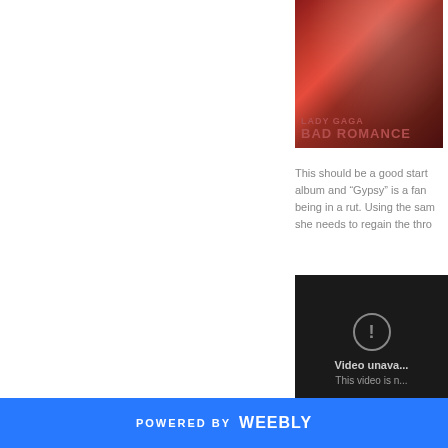[Figure (photo): Album cover for Lady Gaga - Bad Romance, showing a red-toned image with the artist partially visible and text 'LADY GAGA BAD ROMANCE' in red letters]
This should be a good start album and “Gypsy” is a fan being in a rut. Using the sam she needs to regain the thro
[Figure (screenshot): Dark video player showing 'Video unavailable' message with exclamation icon and text 'This video is n...']
POWERED BY weebly